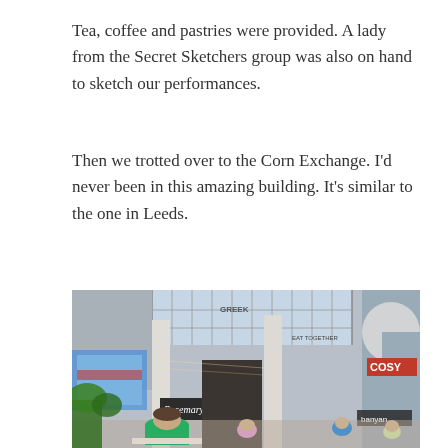Tea, coffee and pastries were provided. A lady from the Secret Sketchers group was also on hand to sketch our performances.
Then we trotted over to the Corn Exchange. I'd never been in this amazing building. It's similar to the one in Leeds.
[Figure (photo): Interior of the Corn Exchange building showing a large skylit atrium with arched ceilings, multiple shop fronts including 'COSY', 'Banyan', 'Rosemary's', and 'EAT TOGETHER'. In the foreground a man in a green sweatshirt sits sketching, with other people seated at tables.]